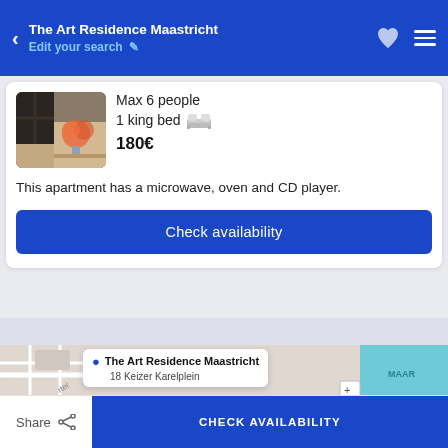The Art Residence Maastricht / Edit your search
Max 6 people
1 king bed
180€
This apartment has a microwave, oven and CD player.
Check availability
[Figure (map): Google Maps view showing FRONTENKWARTIER district with a popup marker for The Art Residence Maastricht at 18 Keizer Karelplein, and a blue waterway on the right labeled MAAR]
The Art Residence Maastricht
18 Keizer Karelplein
Share   CHECK AVAILABILITY